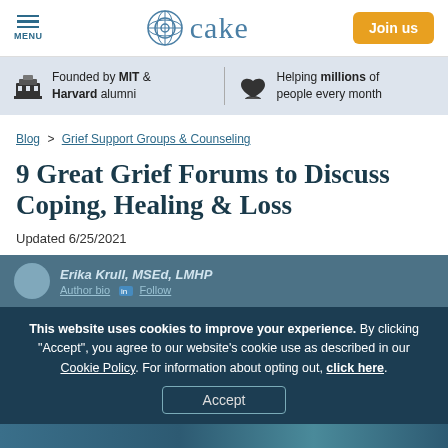MENU | cake | Join us
Founded by MIT & Harvard alumni | Helping millions of people every month
Blog > Grief Support Groups & Counseling
9 Great Grief Forums to Discuss Coping, Healing & Loss
Updated 6/25/2021
Erika Krull, MSEd, LMHP
This website uses cookies to improve your experience. By clicking "Accept", you agree to our website's cookie use as described in our Cookie Policy. For information about opting out, click here.
Accept